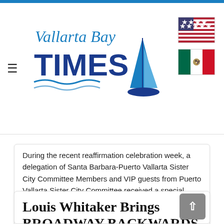Vallarta Bay Times
[Figure (logo): Vallarta Bay Times logo with sailboat and wave, plus US and Mexico flags]
During the recent reaffirmation celebration week, a delegation of Santa Barbara-Puerto Vallarta Sister City Committee Members and VIP guests from Puerto Vallarta Sister City Committee received a special blessing by Father Joe...
2022-08-02
Read more: Puerto Vallarta Sister City Reaffirmation Celebration
Louis Whitaker Brings BROADWAY BACKWARDS T...